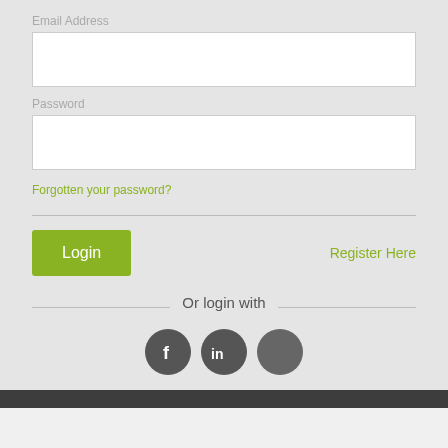Email Address
[Figure (screenshot): Empty email address input field (white box)]
Password
[Figure (screenshot): Empty password input field (white box)]
Forgotten your password?
Login
Register Here
Or login with
[Figure (infographic): Three social login icons: Facebook (f), LinkedIn (in), and a third grey circle]